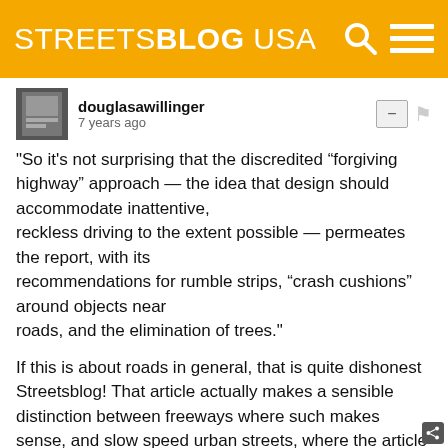STREETSBLOG USA
douglasawillinger
7 years ago
"So it's not surprising that the discredited “forgiving highway” approach — the idea that design should accommodate inattentive,
reckless driving to the extent possible — permeates the report, with its
recommendations for rumble strips, “crash cushions” around objects near
roads, and the elimination of trees."
If this is about roads in general, that is quite dishonest Streetsblog! That article actually makes a sensible distinction between freeways where such makes sense, and slow speed urban streets, where the article makes points that are valid.
"1. They rejected that wider, straighter and faster is better for non-freeways in urban areas."